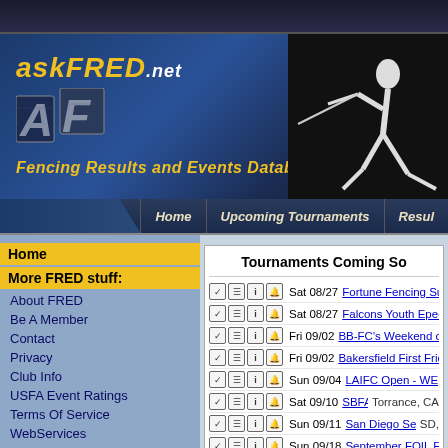[Figure (screenshot): askFRED.net website header with logo showing fencer silhouette]
askFRED.net - Fencing Results and Events Database
Home
Upcoming Tournaments
Results
Home
More FRED stuff:
About FRED
Be A Member
Contact
Privacy
Club Info
USFA Event Ratings
Terms Of Service
WebServices
Blog
Other Sites:
USFA
ROC
USFA Referees
USFCA
Tournaments Coming So
Sat 08/27 Fortune Fencing Summer Non-R
Sat 08/27 Falcons Youth Epee Tournament
Fri 09/02 BB-FC's Weekend of Veteran Epe
Fri 09/02 Bakersfield First Friday Foil Tourn
Sun 09/04 LAIFC Open - WE, MxE, MxS ar
Sat 09/10 SBFA Saber Cup   Torrance, CA
Sun 09/11 San Diego Senior Cup #1   SD,
Sun 09/18 September FOIL Fest! [Unsancti
Sun 09/18 San Diego Cup - Saber Youth #1
Sun 09/18 San Diego Cup- Youth Epee #1